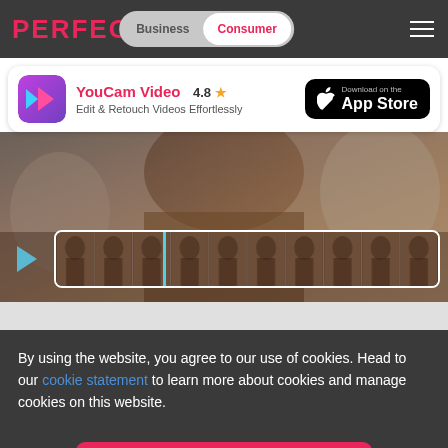PERFECT | Business | Consumer
[Figure (screenshot): YouCam Video app banner with icon, name, rating 4.8, and App Store download button]
[Figure (screenshot): Video editor interface showing a video preview of a person in a brown jacket, with a filmstrip timeline scrubber below]
By using the website, you agree to our use of cookies. Head to our cookie statement to learn more about cookies and manage cookies on this website.
[Figure (other): CONTINUE button in pink/red]